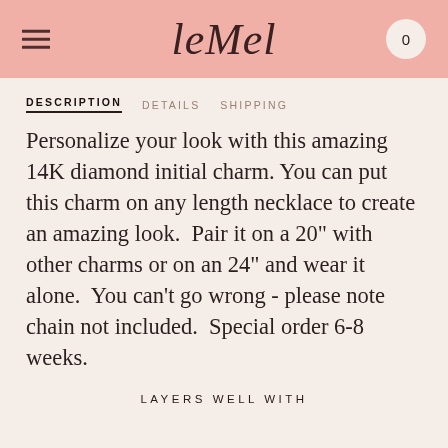leMel
DESCRIPTION | DETAILS | SHIPPING
Personalize your look with this amazing 14K diamond initial charm. You can put this charm on any length necklace to create an amazing look.  Pair it on a 20" with other charms or on an 24" and wear it alone.  You can't go wrong - please note chain not included.  Special order 6-8 weeks.
LAYERS WELL WITH